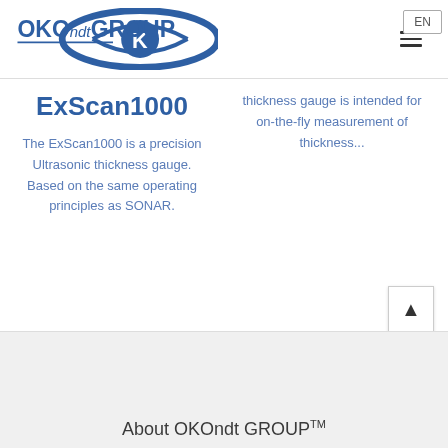OKOndt GROUP — EN button, hamburger menu
ExScan1000
The ExScan1000 is a precision Ultrasonic thickness gauge. Based on the same operating principles as SONAR.
thickness gauge is intended for on-the-fly measurement of thickness...
About OKOndt GROUP™